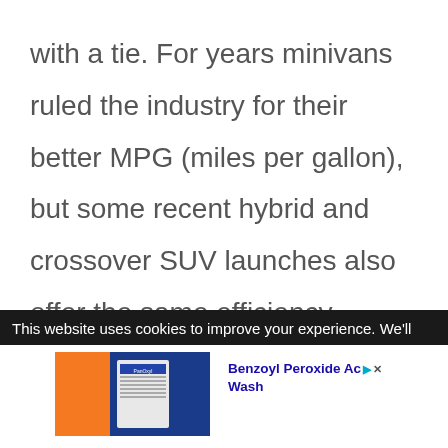with a tie. For years minivans ruled the industry for their better MPG (miles per gallon), but some recent hybrid and crossover SUV launches also offer the same efficiency.
This website uses cookies to improve your experience. We'll
[Figure (photo): Advertisement showing a Benzoyl Peroxide Acne Wash product on an orange and dark blue background]
Ad